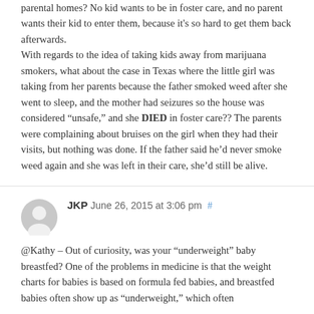parental homes? No kid wants to be in foster care, and no parent wants their kid to enter them, because it's so hard to get them back afterwards. With regards to the idea of taking kids away from marijuana smokers, what about the case in Texas where the little girl was taking from her parents because the father smoked weed after she went to sleep, and the mother had seizures so the house was considered "unsafe," and she DIED in foster care?? The parents were complaining about bruises on the girl when they had their visits, but nothing was done. If the father said he'd never smoke weed again and she was left in their care, she'd still be alive.
JKP June 26, 2015 at 3:06 pm #
@Kathy – Out of curiosity, was your "underweight" baby breastfed? One of the problems in medicine is that the weight charts for babies is based on formula fed babies, and breastfed babies often show up as "underweight," which often results in doctors advising you more and more with formula...